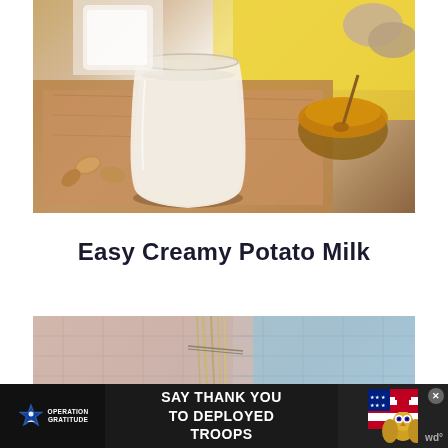[Figure (photo): A glass of creamy potato milk on a wooden tray, surrounded by almonds, with a small bowl of honey and potatoes in the background on a yellow fabric]
Easy Creamy Potato Milk
[Figure (photo): Close-up of quilted fabric with different textures and patterns in pink and blue tones]
[Figure (other): Advertisement banner: Operation Gratitude - SAY THANK YOU TO DEPLOYED TROOPS, with star and owl mascot graphics]